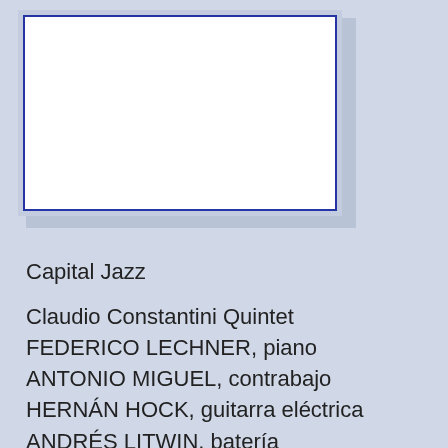[Figure (other): White rectangular box with blue border on a light blue-grey background, appears to be a placeholder image area]
Capital Jazz
Claudio Constantini Quintet
FEDERICO LECHNER, piano
ANTONIO MIGUEL, contrabajo
HERNÁN HOCK, guitarra eléctrica
ANDRÉS LITWIN, batería
CLAUDIO CONSTANTINI, bandoneón & composiciones
Viernes 25 y Sábado 26 de Septiembre
23:00 H
HOTEL INDAUTXU